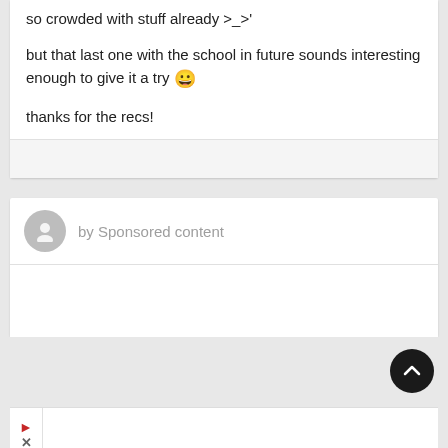so crowded with stuff already >_>'
but that last one with the school in future sounds interesting enough to give it a try 😀
thanks for the recs!
by Sponsored content
[Figure (other): Scroll-to-top button, dark circle with upward chevron arrow]
[Figure (other): Ad bar with red > arrow and X close button controls]